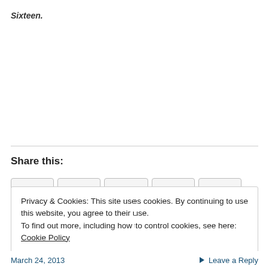Sixteen.
Share this:
Privacy & Cookies: This site uses cookies. By continuing to use this website, you agree to their use.
To find out more, including how to control cookies, see here: Cookie Policy
March 24, 2013   Leave a Reply